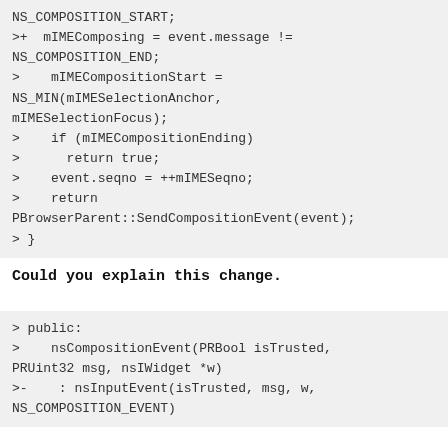NS_COMPOSITION_START;
>+  mIMEComposing = event.message !=
NS_COMPOSITION_END;
>    mIMECompositionStart =
NS_MIN(mIMESelectionAnchor,
mIMESelectionFocus);
>    if (mIMECompositionEnding)
>      return true;
>    event.seqno = ++mIMESeqno;
>    return
PBrowserParent::SendCompositionEvent(event);
> }
Could you explain this change.
> public:
>    nsCompositionEvent(PRBool isTrusted,
PRUint32 msg, nsIWidget *w)
>-    : nsInputEvent(isTrusted, msg, w,
NS_COMPOSITION_EVENT)